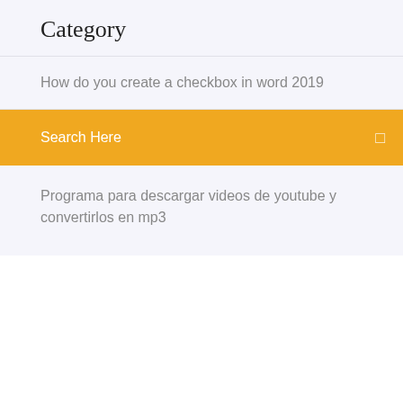Category
How do you create a checkbox in word 2019
Search Here
Programa para descargar videos de youtube y convertirlos en mp3